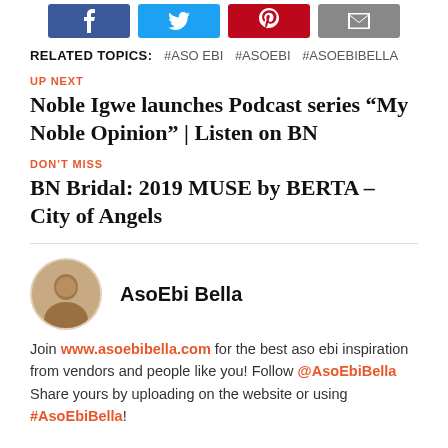[Figure (other): Social sharing buttons: Facebook (blue), Twitter (light blue), Pinterest (red), Email (grey)]
RELATED TOPICS: #ASO EBI #ASOEBI #ASOEBIBELLA
UP NEXT
Noble Igwe launches Podcast series “My Noble Opinion” | Listen on BN
DON’T MISS
BN Bridal: 2019 MUSE by BERTA – City of Angels
[Figure (photo): Circular avatar photo of AsoEbi Bella author]
AsoEbi Bella
Join www.asoebibella.com for the best aso ebi inspiration from vendors and people like you! Follow @AsoEbiBella Share yours by uploading on the website or using #AsoEbiBella!
7 COMMENTS